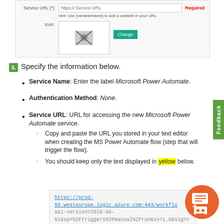[Figure (screenshot): Screenshot of a web form showing Service URL field with Required label and Icon field with Change button]
3. Specify the information below.
Service Name: Enter the label Microsoft Power Automate.
Authentication Method: None.
Service URL: URL for accessing the new Microsoft Power Automate service. Sub-items: Copy and paste the URL you stored in your text editor when creating the MS Power Automate flow (step that will trigger the flow). You should keep only the text displayed in yellow below.
[Figure (screenshot): Code block showing partial URL: https://prod-55.westeurope.logic.azure.com:443/workflo... api-version=2016-06-01&sp=%2Ftriggers%2Fmanual%2Frun&sv=1.0&sig=r]